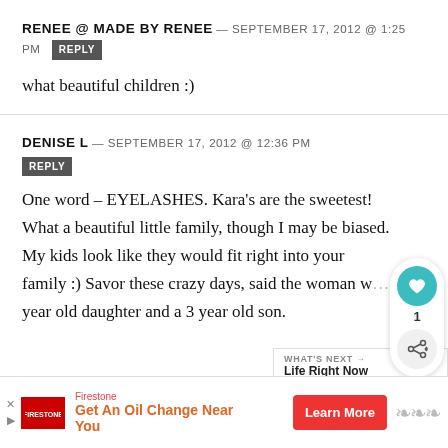RENEE @ MADE BY RENEE — SEPTEMBER 17, 2012 @ 1:25 PM  REPLY
what beautiful children :)
DENISE L — SEPTEMBER 17, 2012 @ 12:36 PM  REPLY
One word – EYELASHES. Kara's are the sweetest! What a beautiful little family, though I may be biased. My kids look like they would fit right into your family :) Savor these crazy days, said the woman w… year old daughter and a 3 year old son.
[Figure (infographic): Social widget with heart/like button showing count of 1 and share button]
[Figure (infographic): What's Next promo box: WHAT'S NEXT → Life Right Now]
[Figure (infographic): Firestone advertisement: Get An Oil Change Near You with Learn More button]